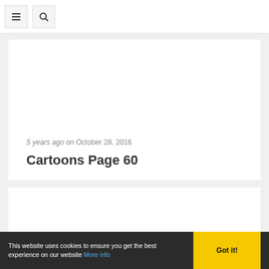5 years ago on October 28, 2016
Cartoons Page 60
[Figure (other): Empty white card area below the title card]
This website uses cookies to ensure you get the best experience on our website More info  Got it!